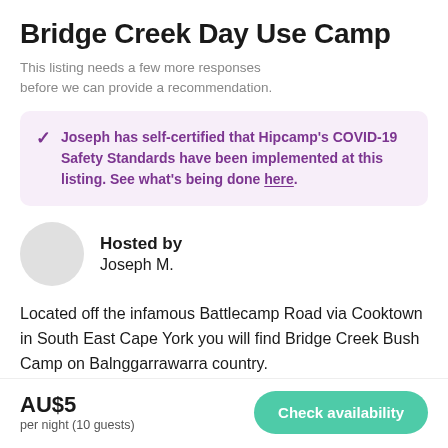Bridge Creek Day Use Camp
This listing needs a few more responses before we can provide a recommendation.
Joseph has self-certified that Hipcamp's COVID-19 Safety Standards have been implemented at this listing. See what's being done here.
Hosted by
Joseph M.
Located off the infamous Battlecamp Road via Cooktown in South East Cape York you will find Bridge Creek Bush Camp on Balnggarrawarra country.
AU$5
per night (10 guests)
Check availability